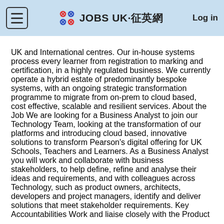JOBS UK·征英網  Log in
UK and International centres. Our in-house systems process every learner from registration to marking and certification, in a highly regulated business. We currently operate a hybrid estate of predominantly bespoke systems, with an ongoing strategic transformation programme to migrate from on-prem to cloud based, cost effective, scalable and resilient services. About the Job We are looking for a Business Analyst to join our Technology Team, looking at the transformation of our platforms and introducing cloud based, innovative solutions to transform Pearson's digital offering for UK Schools, Teachers and Learners. As a Business Analyst you will work and collaborate with business stakeholders, to help define, refine and analyse their ideas and requirements, and with colleagues across Technology, such as product owners, architects, developers and project managers, identify and deliver solutions that meet stakeholder requirements. Key Accountabilities Work and liaise closely with the Product